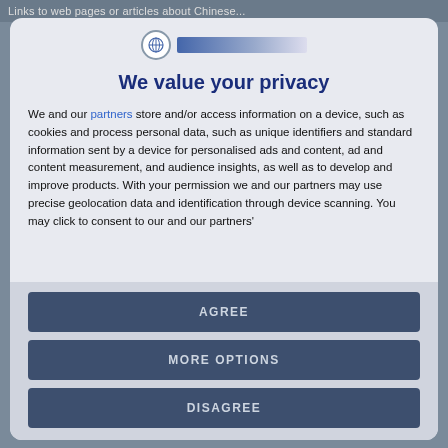Links to web pages or articles about Chinese...
We value your privacy
We and our partners store and/or access information on a device, such as cookies and process personal data, such as unique identifiers and standard information sent by a device for personalised ads and content, ad and content measurement, and audience insights, as well as to develop and improve products. With your permission we and our partners may use precise geolocation data and identification through device scanning. You may click to consent to our and our partners'
AGREE
MORE OPTIONS
DISAGREE